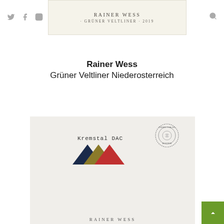Rainer Wess · Grüner Veltliner · 2019 (logo box with social icons)
Rainer Wess
Grüner Veltliner Niederosterreich
[Figure (photo): Photo of a wine bottle label showing 'Kremstal DAC' with three colored triangles (navy, olive, red) and a circular stamp/seal, plus partial text 'RAINER WESS' at the bottom]